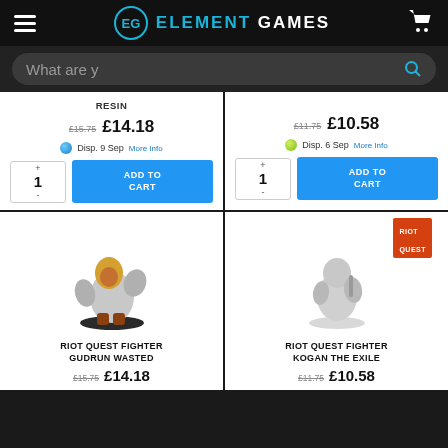Element Games
What are y
RESIN
£15.75  £14.18 — Disp. 9 Sep More Info
£11.75  £10.58 — Disp. 6 Sep More Info
[Figure (photo): Miniature figure of Riot Quest Fighter Gudrun Wasted]
RIOT QUEST FIGHTER GUDRUN WASTED
£15.75  £14.18
[Figure (photo): Miniature figure of Riot Quest Fighter Kogan the Exile with Riot Quest logo]
RIOT QUEST FIGHTER KOGAN THE EXILE
£11.75  £10.58